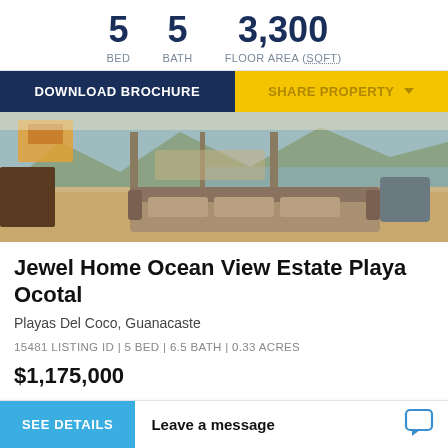5 BED  5 BATH  3,300 FLOOR AREA (SQFT)
DOWNLOAD BROCHURE  |  SHARE PROPERTY
[Figure (photo): Interior of a luxury ocean view home with leather sectional sofa, wood floors, floor-to-ceiling glass doors opening to a terrace and infinity pool overlooking the ocean and mountains.]
Jewel Home Ocean View Estate Playa Ocotal
Playas Del Coco, Guanacaste
15481 LISTING ID | 5 BED | 6.5 BATH | 0.33 ACRES
$1,175,000
SEE DETAILS
Leave a message